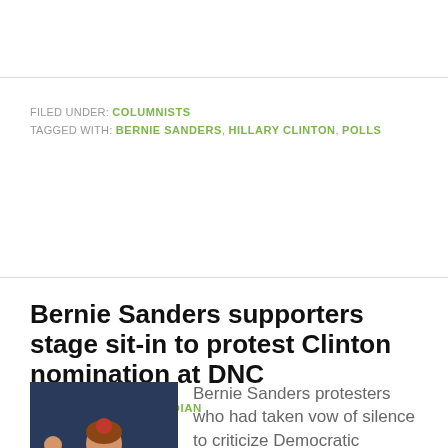FILED UNDER: COLUMNISTS
TAGGED WITH: BERNIE SANDERS, HILLARY CLINTON, POLLS
Bernie Sanders supporters stage sit-in to protest Clinton nomination at DNC
2016/07/27 BY THEGUARDIAN
[Figure (photo): Woman in red dress with fist raised at DNC protest, with ACTIONS sign visible at bottom]
Bernie Sanders protesters who had taken vow of silence to criticize Democratic National Committee